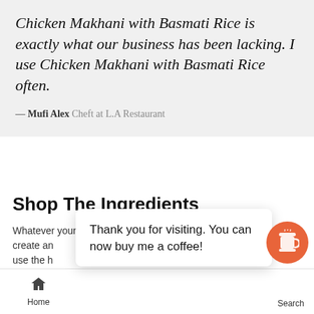Chicken Makhani with Basmati Rice is exactly what our business has been lacking. I use Chicken Makhani with Basmati Rice often.
— Mufi Alex Cheft at L.A Restaurant
Shop The Ingredients
Whatever your taste, Farmart has just what you need to create an ... es which use the h...
Thank you for visiting. You can now buy me a coffee!
Home
Search